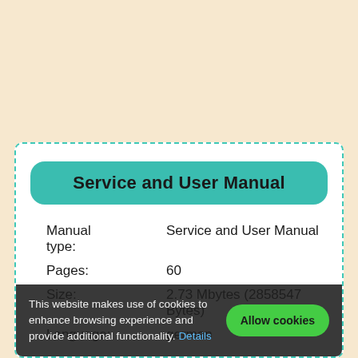Service and User Manual
| Field | Value |
| --- | --- |
| Manual type: | Service and User Manual |
| Pages: | 60 |
| Size: | 2.73 Mbytes (2858547 Bytes) |
| Language: | german |
This website makes use of cookies to enhance browsing experience and provide additional functionality. Details
Allow cookies